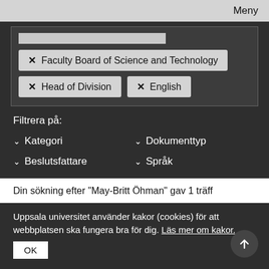Meny
× Faculty Board of Science and Technology
× Head of Division    × English
Filtrera på:
✓ Kategori
✓ Dokumenttyp
✓ Beslutsfattare
✓ Språk
Din sökning efter "May-Britt Öhman" gav 1 träff
Uppsala universitet använder kakor (cookies) för att webbplatsen ska fungera bra för dig. Läs mer om kakor.
OK